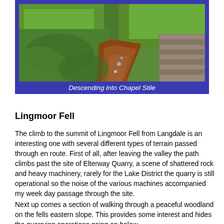[Figure (photo): A winding dirt path descending through dense green ferns on a hillside, with a stone wall visible on the right side. The path leads downward into Chapel Stile.]
Descending into Chapel Stile
Lingmoor Fell
The climb to the summit of Lingmoor Fell from Langdale is an interesting one with several different types of terrain passed through en route. First of all, after leaving the valley the path climbs past the site of Elterway Quarry, a scene of shattered rock and heavy machinery, rarely for the Lake District the quarry is still operational so the noise of the various machines accompanied my week day passage through the site.
Next up comes a section of walking through a peaceful woodland on the fells eastern slope. This provides some interest and hides the quarrying operations going on below.